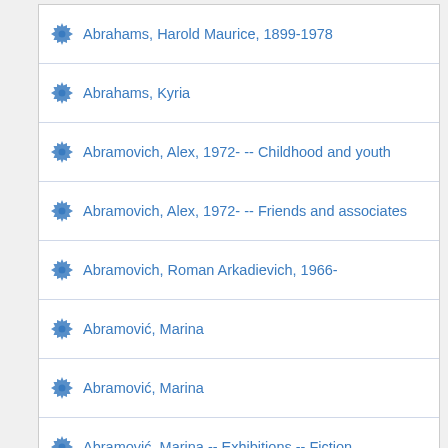Abrahams, Harold Maurice, 1899-1978
Abrahams, Kyria
Abramovich, Alex, 1972- -- Childhood and youth
Abramovich, Alex, 1972- -- Friends and associates
Abramovich, Roman Arkadievich, 1966-
Abramović, Marina
Abramović, Marina
Abramović, Marina -- Exhibitions -- Fiction
Abrams, Stacey
Abrams, Stacey -- Childhood and youth -- Fiction
Abrams, Stacey -- Childhood and youth -- Juvenile